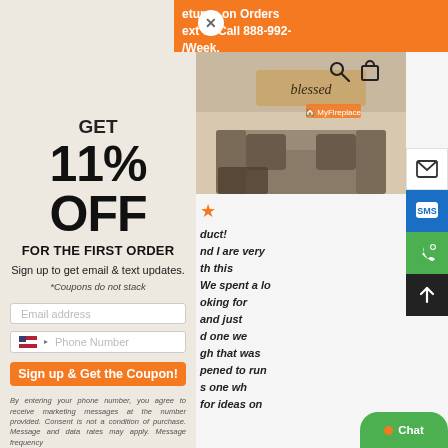[Figure (screenshot): Website popup overlay showing a fireplace in a living room, with a promotional offer for 11% off the first order, email and phone input fields, and a sign-up button. Right side shows the underlying website with a product image, star rating, and review text. Floating action buttons and a chat button are visible on the right edge.]
Returns on Orders Text or Call 888-992- /Week.
GET
11% OFF
FOR THE FIRST ORDER
Sign up to get email & text updates.
*Coupons do not stack
Email address
Phone Number
Sign up & Get the Coupon!
By entering your phone number, you agree to receive marketing messages at the number provided. Consent is not a condition of purchase. Message and data rates may apply. Message frequency
duct!
nd I are very th this We spent a lo oking for and just d one we gh that was pened to run s one wh for ideas on